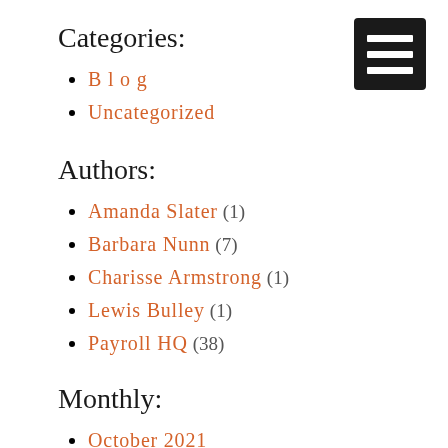[Figure (other): Black hamburger menu icon (three white horizontal lines on black background)]
Categories:
Blog
Uncategorized
Authors:
Amanda Slater (1)
Barbara Nunn (7)
Charisse Armstrong (1)
Lewis Bulley (1)
Payroll HQ (38)
Monthly:
October 2021
December 2020